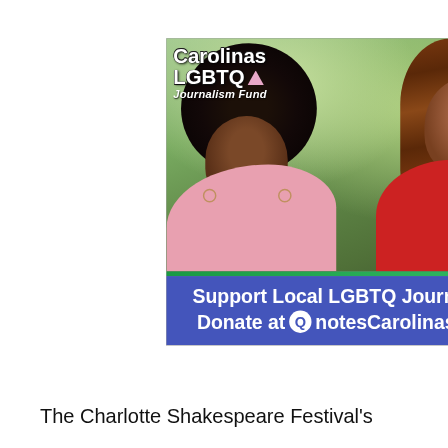[Figure (illustration): Advertisement for Carolinas LGBTQ Journalism Fund showing two young Black women, one with a large afro wearing pink, one with braids wearing red. Text overlay: 'Carolinas LGBTQ Journalism Fund'. Bottom banner: 'Support Local LGBTQ Journalism / Donate at QnotesCarolinas.com'. Close X button top right.]
The Charlotte Shakespeare Festival's